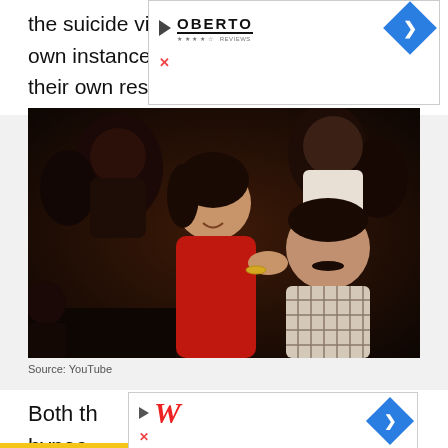[Figure (screenshot): Advertisement banner for Oberto with play button triangle icon and blue navigation arrow]
the suicide victim, look back upon their own instances of being promiscuous with their own respective lovers in college.
[Figure (photo): Film still showing a woman in a red outfit leaning toward a man with a mustache in a checkered shirt, with crowd in background]
Source: YouTube
Both th[...] y's hypoc[...] hem
[Figure (screenshot): Advertisement banner for Walgreens with play button, stylized W logo, close X button, and blue navigation arrow]